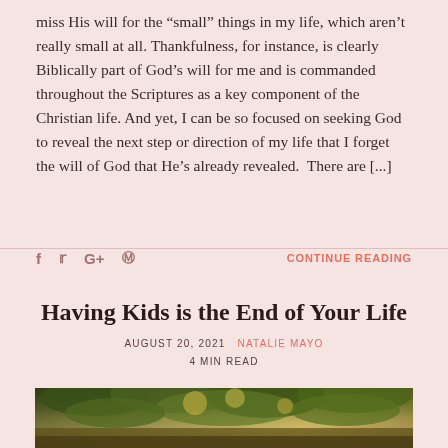miss His will for the “small” things in my life, which aren’t really small at all. Thankfulness, for instance, is clearly Biblically part of God’s will for me and is commanded throughout the Scriptures as a key component of the Christian life. And yet, I can be so focused on seeking God to reveal the next step or direction of my life that I forget the will of God that He’s already revealed. There are [...]
CONTINUE READING
Having Kids is the End of Your Life
AUGUST 20, 2021  NATALIE MAYO
4 MIN READ
[Figure (photo): Outdoor photo of tree canopy with sunlight filtering through green and golden leaves]